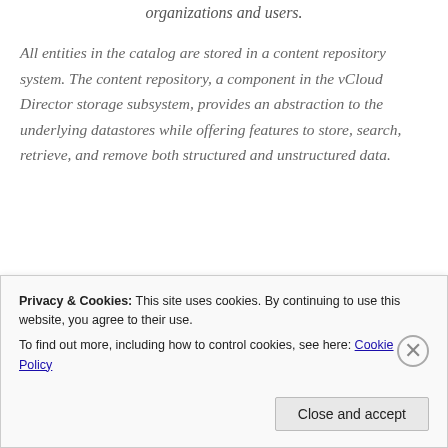organizations and users.
All entities in the catalog are stored in a content repository system. The content repository, a component in the vCloud Director storage subsystem, provides an abstraction to the underlying datastores while offering features to store, search, retrieve, and remove both structured and unstructured data.
Skills and Abilities
Based on application requirements.
Privacy & Cookies: This site uses cookies. By continuing to use this website, you agree to their use. To find out more, including how to control cookies, see here: Cookie Policy